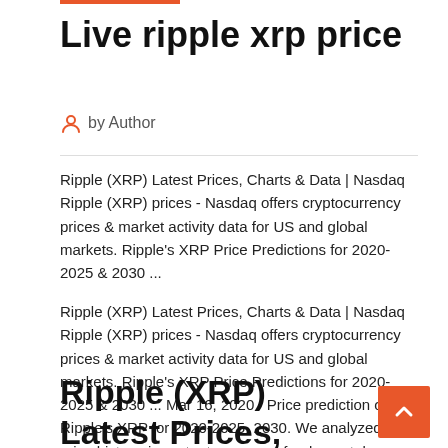Live ripple xrp price
by Author
Ripple (XRP) Latest Prices, Charts & Data | Nasdaq Ripple (XRP) prices - Nasdaq offers cryptocurrency prices & market activity data for US and global markets. Ripple's XRP Price Predictions for 2020-2025 & 2030 ...
Ripple (XRP) Latest Prices, Charts & Data | Nasdaq Ripple (XRP) prices - Nasdaq offers cryptocurrency prices & market activity data for US and global markets. Ripple's XRP Price Predictions for 2020-2025 & 2030 ... Mar 16, 2020 · Price prediction of Ripple's XRP for 2020-2025, 2030. We analyzed XRP price history, important news and fundamental reasons for the asset to grow or fall. XRP Real Time Informations - Ripple XRP News Tech
Ripple (XRP) Latest Prices, Charts & Data | Nasdaq